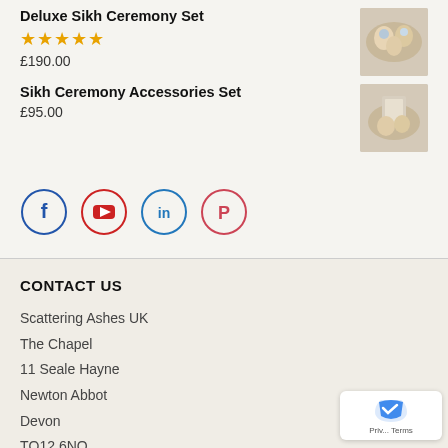Deluxe Sikh Ceremony Set
£190.00
Sikh Ceremony Accessories Set
£95.00
[Figure (illustration): Four social media icon circles: Facebook (blue), YouTube (red), LinkedIn (blue), Pinterest (pink/red)]
CONTACT US
Scattering Ashes UK
The Chapel
11 Seale Hayne
Newton Abbot
Devon
TQ12 6NO